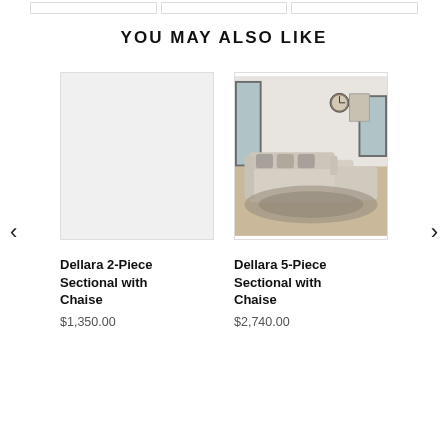YOU MAY ALSO LIKE
[Figure (illustration): Product card for Dellara 2-Piece Sectional with Chaise — blank light gray placeholder image]
Dellara 2-Piece Sectional with Chaise
$1,350.00
[Figure (photo): Product card for Dellara 5-Piece Sectional with Chaise — photo of a large light beige/cream sectional sofa with chaise in a bright living room with light wood floors, decorative clock and wall art]
Dellara 5-Piece Sectional with Chaise
$2,740.00